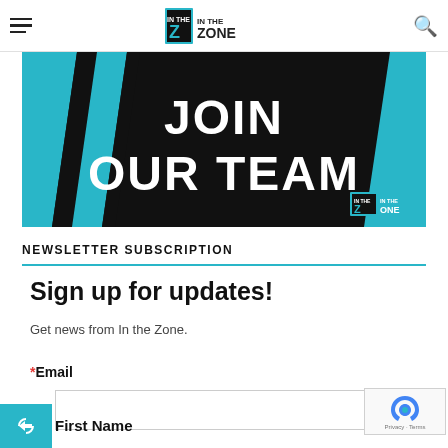In the Zone
[Figure (illustration): Black banner with teal diagonal stripes on left and right, large white bold text reading JOIN OUR TEAM, with In the Zone logo bottom right]
NEWSLETTER SUBSCRIPTION
Sign up for updates!
Get news from In the Zone.
*Email
First Name